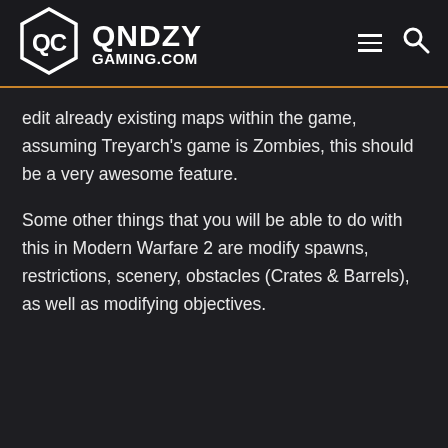QNDZY GAMING.COM
edit already existing maps within the game, assuming Treyarch's game is Zombies, this should be a very awesome feature.
Some other things that you will be able to do with this in Modern Warfare 2 are modify spawns, restrictions, scenery, obstacles (Crates & Barrels), as well as modifying objectives.